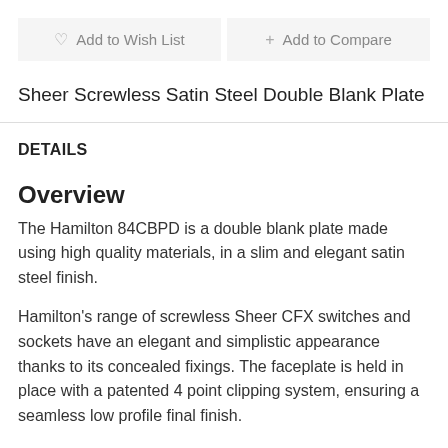♡ Add to Wish List
+ Add to Compare
Sheer Screwless Satin Steel Double Blank Plate
DETAILS
Overview
The Hamilton 84CBPD is a double blank plate made using high quality materials, in a slim and elegant satin steel finish.
Hamilton's range of screwless Sheer CFX switches and sockets have an elegant and simplistic appearance thanks to its concealed fixings. The faceplate is held in place with a patented 4 point clipping system, ensuring a seamless low profile final finish.